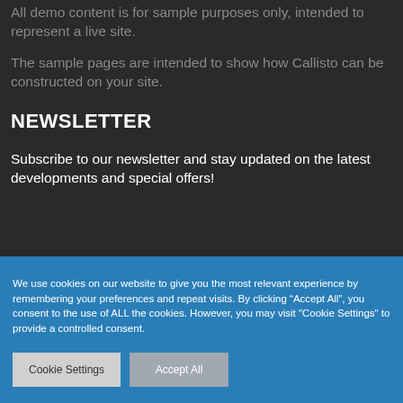All demo content is for sample purposes only, intended to represent a live site.
The sample pages are intended to show how Callisto can be constructed on your site.
NEWSLETTER
Subscribe to our newsletter and stay updated on the latest developments and special offers!
We use cookies on our website to give you the most relevant experience by remembering your preferences and repeat visits. By clicking “Accept All”, you consent to the use of ALL the cookies. However, you may visit "Cookie Settings" to provide a controlled consent.